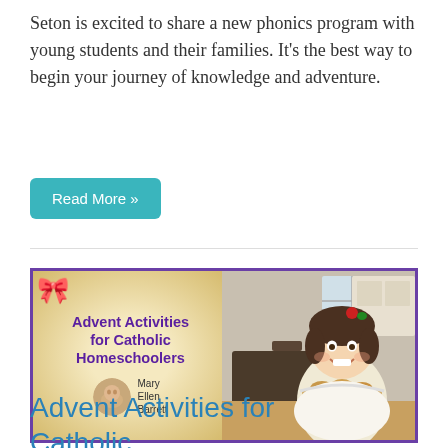Seton is excited to share a new phonics program with young students and their families. It's the best way to begin your journey of knowledge and adventure.
Read More »
[Figure (photo): Advent Activities for Catholic Homeschoolers banner image with purple bow, golden bokeh background on the left side showing the title and author Mary Ellen Barrett, and on the right side a smiling young girl holding a tray of baked goods in a kitchen setting.]
Advent Activities for Catholic